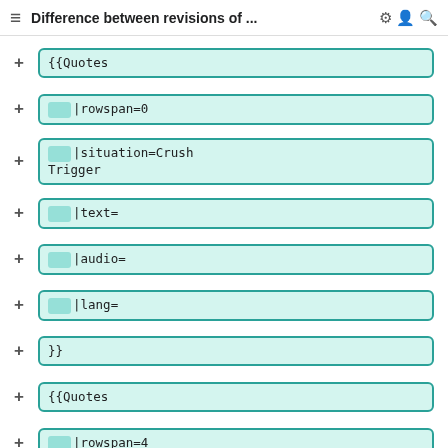≡  Difference between revisions of ...  ⚙  👤  🔍
+ {{Quotes
+  |rowspan=0
+  |situation=Crush Trigger
+  |text=
+  |audio=
+  |lang=
+ }}
+ {{Quotes
+  |rowspan=4
+  |situation=Staggered